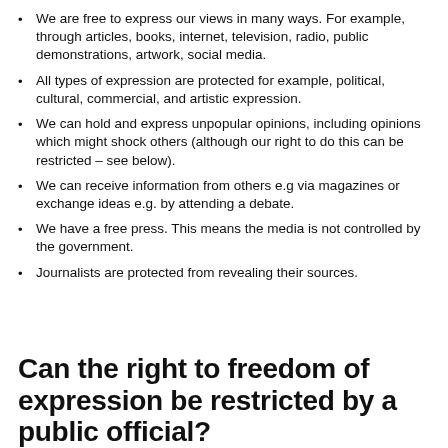We are free to express our views in many ways. For example, through articles, books, internet, television, radio, public demonstrations, artwork, social media.
All types of expression are protected for example, political, cultural, commercial, and artistic expression.
We can hold and express unpopular opinions, including opinions which might shock others (although our right to do this can be restricted – see below).
We can receive information from others e.g via magazines or exchange ideas e.g. by attending a debate.
We have a free press. This means the media is not controlled by the government.
Journalists are protected from revealing their sources.
Can the right to freedom of expression be restricted by a public official?